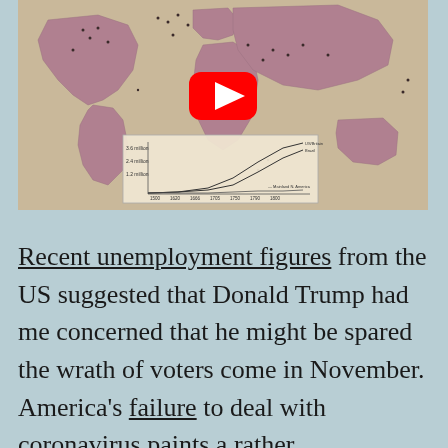[Figure (map): YouTube video thumbnail showing a world map with dots/marks representing data points, with a line chart overlay at the bottom showing historical data over time periods from roughly 1500-1800. A red YouTube play button is overlaid in the center.]
Recent unemployment figures from the US suggested that Donald Trump had me concerned that he might be spared the wrath of voters come in November. America's failure to deal with coronavirus paints a rather